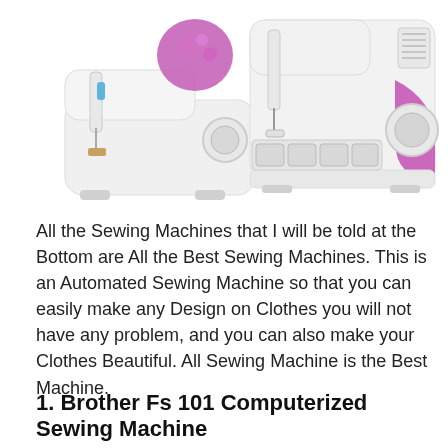[Figure (photo): Two sewing machines side by side: a smaller white and purple sewing machine on the left, and a larger white sewing machine with purple accents on the right.]
All the Sewing Machines that I will be told at the Bottom are All the Best Sewing Machines. This is an Automated Sewing Machine so that you can easily make any Design on Clothes you will not have any problem, and you can also make your Clothes Beautiful. All Sewing Machine is the Best Machine.
1. Brother Fs 101 Computerized Sewing Machine